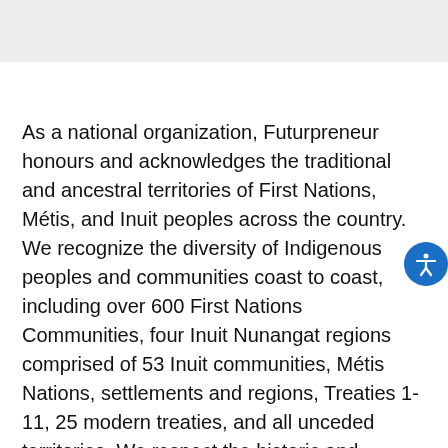As a national organization, Futurpreneur honours and acknowledges the traditional and ancestral territories of First Nations, Métis, and Inuit peoples across the country. We recognize the diversity of Indigenous peoples and communities coast to coast, including over 600 First Nations Communities, four Inuit Nunangat regions comprised of 53 Inuit communities, Métis Nations, settlements and regions, Treaties 1-11, 25 modern treaties, and all unceded territories. We respect the historic and current relationship Indigenous peoples have to the land on which we reside. We are committed to collaborating and establishing respectful relationships with Indigenous peoples by striving to practice reconciliation in our everyday lives, communities, and workplaces. We encourage you to take part in learning the local